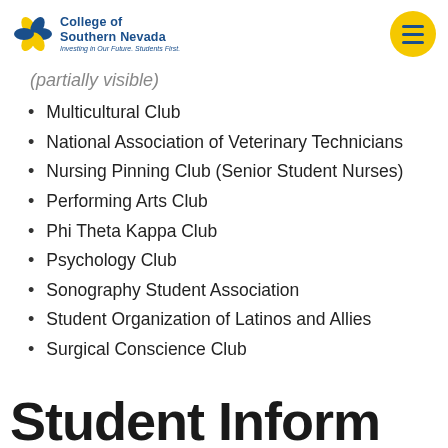College of Southern Nevada — Investing in Our Future. Students First.
Multicultural Club
National Association of Veterinary Technicians
Nursing Pinning Club (Senior Student Nurses)
Performing Arts Club
Phi Theta Kappa Club
Psychology Club
Sonography Student Association
Student Organization of Latinos and Allies
Surgical Conscience Club
Student Information